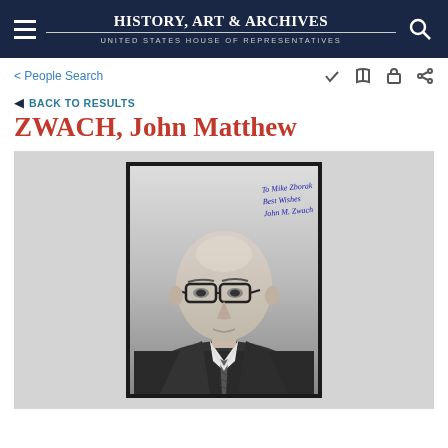History, Art & Archives — United States House of Representatives
< People Search
◄ BACK TO RESULTS
ZWACH, John Matthew
[Figure (photo): Black and white official portrait photograph of John Matthew Zwach, a bald man wearing dark-rimmed glasses, a suit, and a striped tie. The photo is signed in blue ink in the upper right corner reading 'To Mike Zborak, Best Wishes, John M. Zwach'.]